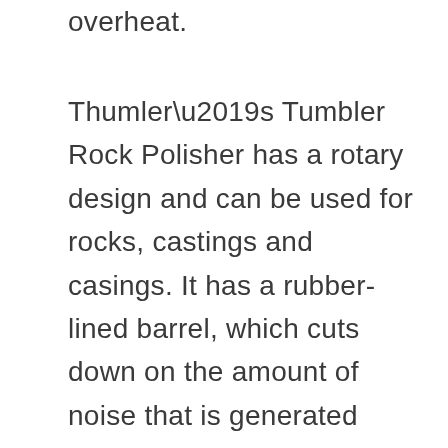overheat.
Thumler’s Tumbler Rock Polisher has a rotary design and can be used for rocks, castings and casings. It has a rubber-lined barrel, which cuts down on the amount of noise that is generated when it’s operational. It measures 6” long, 6” wide and 7.5” tall and weighs a total of 2 lbs. This is a smaller rock tumbler model from Thumler, so it is therefore appropriate for those who are just starting out with rock tumbling.